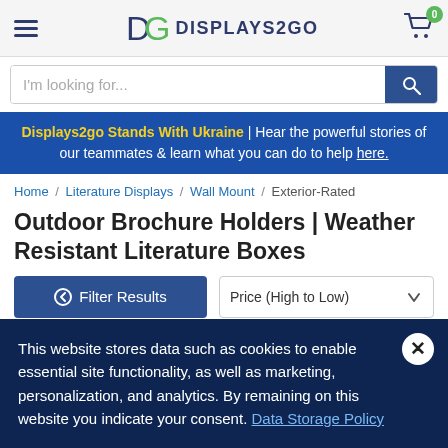DISPLAYS2GO
I'm looking for...
Displays2go Stands With Ukraine | Hear the powerful stories of our teammates & learn what you can do to help here.
Home / Literature Displays / Wall Mount / Exterior-Rated
Outdoor Brochure Holders | Weather Resistant Literature Boxes
Filter Results
Price (High to Low)
Items 1 - 33 of 633
This website stores data such as cookies to enable essential site functionality, as well as marketing, personalization, and analytics. By remaining on this website you indicate your consent. Data Storage Policy